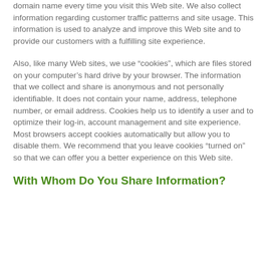domain name every time you visit this Web site. We also collect information regarding customer traffic patterns and site usage. This information is used to analyze and improve this Web site and to provide our customers with a fulfilling site experience.
Also, like many Web sites, we use “cookies”, which are files stored on your computer’s hard drive by your browser. The information that we collect and share is anonymous and not personally identifiable. It does not contain your name, address, telephone number, or email address. Cookies help us to identify a user and to optimize their log-in, account management and site experience. Most browsers accept cookies automatically but allow you to disable them. We recommend that you leave cookies “turned on” so that we can offer you a better experience on this Web site.
With Whom Do You Share Information?